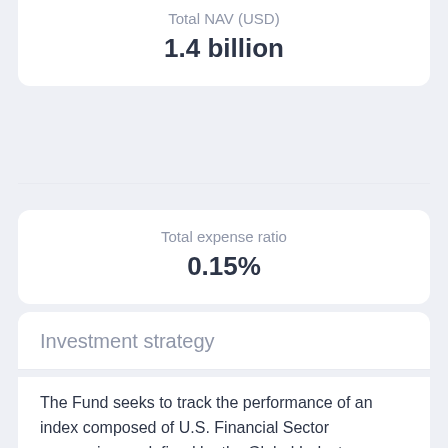Total NAV (USD)
1.4 billion
Total expense ratio
0.15%
Investment strategy
The Fund seeks to track the performance of an index composed of U.S. Financial Sector companies as defined by the Global Industry Classification Standard (GICS)